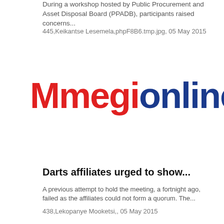During a workshop hosted by Public Procurement and Asset Disposal Board (PPADB), participants raised concerns...
445,Keikantse Lesemela,phpF8B6.tmp.jpg, 05 May 2015
[Figure (logo): Mmegi Online logo — 'Mmegi' in red bold text and 'online' in dark blue text]
Darts affiliates urged to show...
A previous attempt to hold the meeting, a fortnight ago, failed as the affiliates could not form a quorum. The...
438,Lekopanye Mooketsi,, 05 May 2015